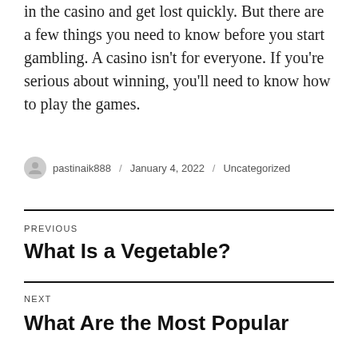in the casino and get lost quickly. But there are a few things you need to know before you start gambling. A casino isn't for everyone. If you're serious about winning, you'll need to know how to play the games.
pastinaik888 / January 4, 2022 / Uncategorized
PREVIOUS
What Is a Vegetable?
NEXT
What Are the Most Popular